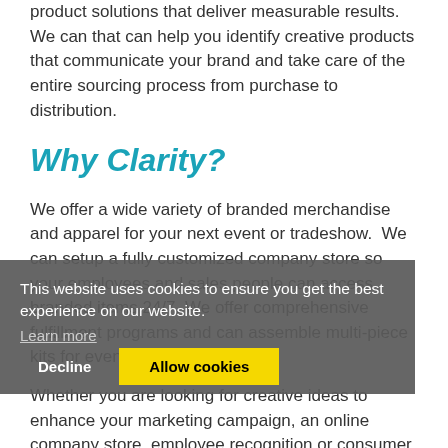product solutions that deliver measurable results. We can that can help you identify creative products that communicate your brand and take care of the entire sourcing process from purchase to distribution.
Why Clarity?
We offer a wide variety of branded merchandise and apparel for your next event or tradeshow. We can setup a fully customized company store so your employees and sales people can access branded items 24/7. We offer comprehensive fulfillment programs and can assemble multi-piece kits for events and tradeshows.
This website uses cookies to ensure you get the best experience on our website.
Learn more
Decline
Allow cookies
Whether you are looking for creative ideas to enhance your marketing campaign, an online company store, employee recognition or consumer promotions, put our knowledge about trends and innovative product to